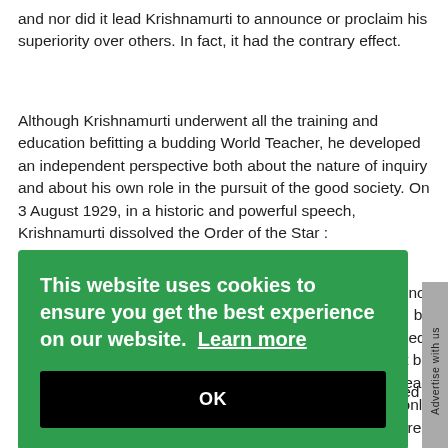and nor did it lead Krishnamurti to announce or proclaim his superiority over others. In fact, it had the contrary effect.
Although Krishnamurti underwent all the training and education befitting a budding World Teacher, he developed an independent perspective both about the nature of inquiry and about his own role in the pursuit of the good society. On 3 August 1929, in a historic and powerful speech, Krishnamurti dissolved the Order of the Star :
...cannot ...igion, by ...d, ...ot be ...ned to lead ...My only ...y free
[Figure (screenshot): Cookie consent modal overlay with green background. Text reads: 'This website uses cookies to ensure you get the best experience on our website. Learn more' with a black OK button.]
...ty and its organizational trappings Krishnamurti asserted his independence, and his 'teachings', so to speak, unfolded